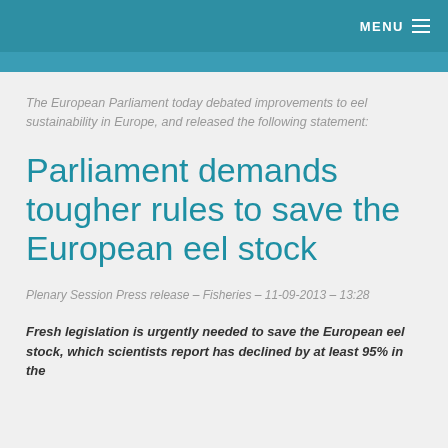MENU
The European Parliament today debated improvements to eel sustainability in Europe, and released the following statement:
Parliament demands tougher rules to save the European eel stock
Plenary Session Press release – Fisheries – 11-09-2013 – 13:28
Fresh legislation is urgently needed to save the European eel stock, which scientists report has declined by at least 95% in the